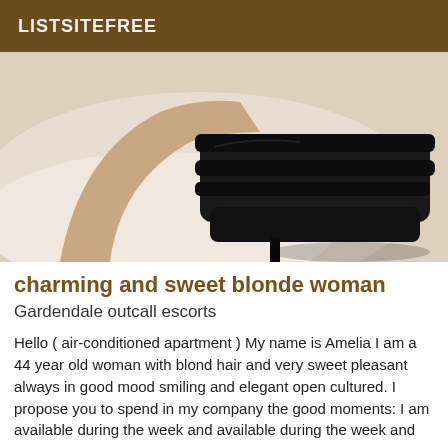LISTSITEFREE
[Figure (photo): Close-up photo of legs wearing black strappy high-heel platform shoes on a white surface]
charming and sweet blonde woman
Gardendale outcall escorts
Hello ( air-conditioned apartment ) My name is Amelia I am a 44 year old woman with blond hair and very sweet pleasant always in good mood smiling and elegant open cultured. I propose you to spend in my company the good moments: I am available during the week and available...